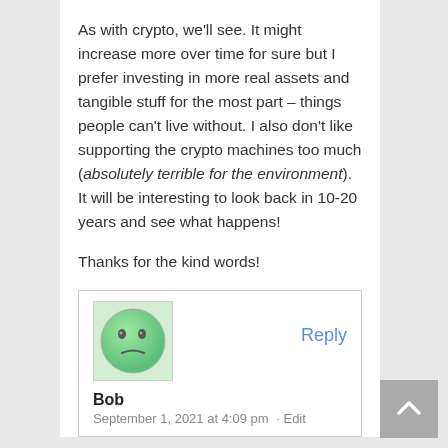As with crypto, we'll see. It might increase more over time for sure but I prefer investing in more real assets and tangible stuff for the most part – things people can't live without. I also don't like supporting the crypto machines too much (absolutely terrible for the environment). It will be interesting to look back in 10-20 years and see what happens!
Thanks for the kind words!
[Figure (illustration): Green smiley face avatar icon with a neutral/skeptical expression]
Reply
Bob
September 1, 2021 at 4:09 pm · Edit